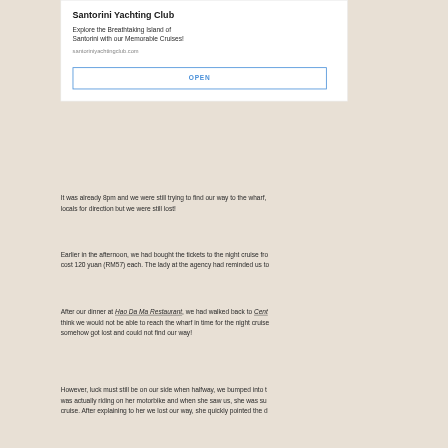Santorini Yachting Club
Explore the Breathtaking Island of Santorini with our Memorable Cruises!
santoriniyachtingclub.com
OPEN
It was already 8pm and we were still trying to find our way to the wharf, locals for direction but we were still lost!
Earlier in the afternoon, we had bought the tickets to the night cruise fro cost 120 yuan (RM57) each. The lady at the agency had reminded us to
After our dinner at Hao Da Ma Restaurant, we had walked back to Cent think we would not be able to reach the wharf in time for the night cruise somehow got lost and could not find our way!
However, luck must still be on our side when halfway, we bumped into t was actually riding on her motorbike and when she saw us, she was su cruise. After explaining to her we lost our way, she quickly pointed the d